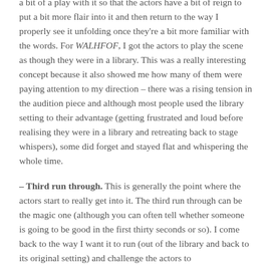a bit of a play with it so that the actors have a bit of reign to put a bit more flair into it and then return to the way I properly see it unfolding once they're a bit more familiar with the words. For WALHFOF, I got the actors to play the scene as though they were in a library. This was a really interesting concept because it also showed me how many of them were paying attention to my direction – there was a rising tension in the audition piece and although most people used the library setting to their advantage (getting frustrated and loud before realising they were in a library and retreating back to stage whispers), some did forget and stayed flat and whispering the whole time.
– Third run through. This is generally the point where the actors start to really get into it. The third run through can be the magic one (although you can often tell whether someone is going to be good in the first thirty seconds or so). I come back to the way I want it to run (out of the library and back to its original setting) and challenge the actors to